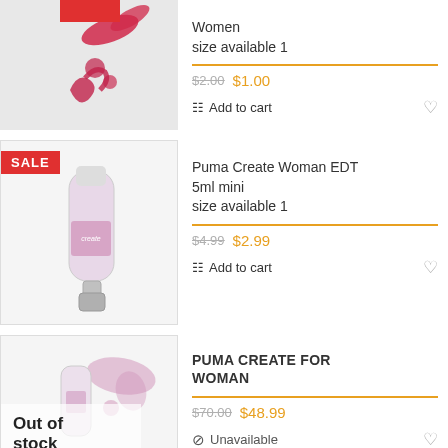[Figure (photo): Puma women product - pink splash/paint mark on white background with Puma logo, partially cut off at top]
Women
size available 1
$2.00  $1.00
Add to cart
[Figure (photo): Puma Create Woman EDT 5ml mini bottle with SALE badge]
Puma Create Woman EDT 5ml mini
size available 1
$4.99  $2.99
Add to cart
[Figure (photo): PUMA CREATE FOR WOMAN product with Out of stock overlay]
PUMA CREATE FOR WOMAN
$70.00  $48.99
Unavailable